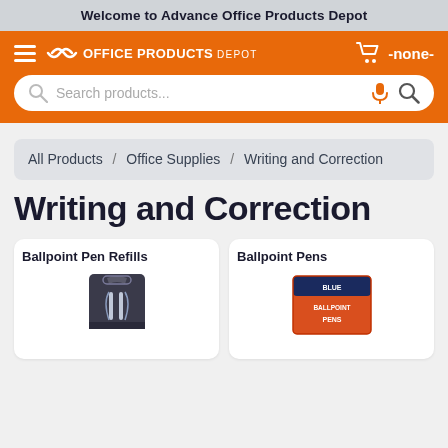Welcome to Advance Office Products Depot
[Figure (logo): Office Products Depot logo with cart icon and -none- cart label on orange navigation bar]
Search products...
All Products / Office Supplies / Writing and Correction
Writing and Correction
Ballpoint Pen Refills
Ballpoint Pens